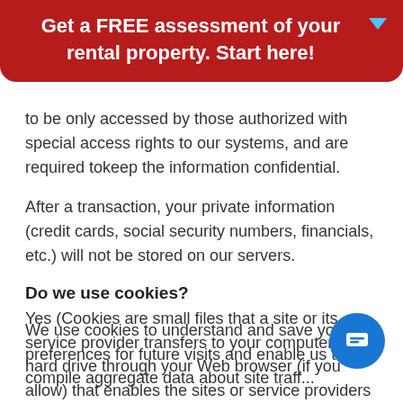Get a FREE assessment of your rental property. Start here!
to be only accessed by those authorized with special access rights to our systems, and are required tokeep the information confidential.
After a transaction, your private information (credit cards, social security numbers, financials, etc.) will not be stored on our servers.
Do we use cookies?
Yes (Cookies are small files that a site or its service provider transfers to your computer's hard drive through your Web browser (if you allow) that enables the sites or service providers systems to recognize your browser and capture and remember certain information
We use cookies to understand and save your preferences for future visits and enable us to compile aggregate data about site traffic...